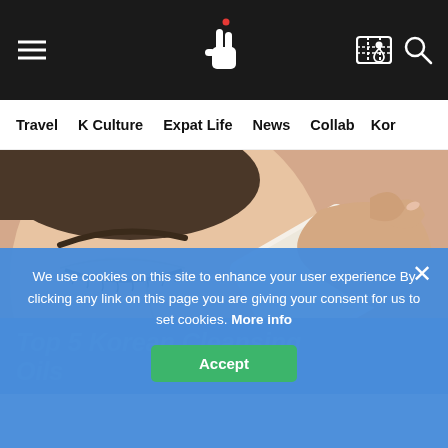Navigation bar with hamburger menu, logo (Korean finger-heart icon), map icon, search icon
Travel  K Culture  Expat Life  News  Collab  Kor
[Figure (photo): Close-up of a woman with closed eyes applying a cleansing pad/cotton to her face. Her skin is smooth, lashes visible. Hand holds a white cotton pad near her eye.]
Top 5 Korean Cleansing Oils
We use cookies on this site to enhance your user experience By clicking any link on this page you are giving your consent for us to set cookies. More info
Accept